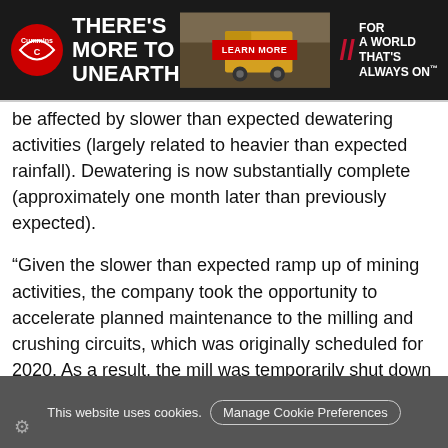[Figure (advertisement): Cummins advertisement banner: logo on left, tagline THERE'S MORE TO UNEARTH, mining truck in center, red LEARN MORE button, FOR A WORLD THAT'S ALWAYS ON on right]
be affected by slower than expected dewatering activities (largely related to heavier than expected rainfall). Dewatering is now substantially complete (approximately one month later than previously expected).
“Given the slower than expected ramp up of mining activities, the company took the opportunity to accelerate planned maintenance to the milling and crushing circuits, which was originally scheduled for 2020. As a result, the mill was temporarily shut down in mid-September and is expected to restart on or about October 14, 2019. During the shutdown ore continues to be mined and trucked to the Meadowbank mill, where it is being stockpiled for future
This website uses cookies.   Manage Cookie Preferences